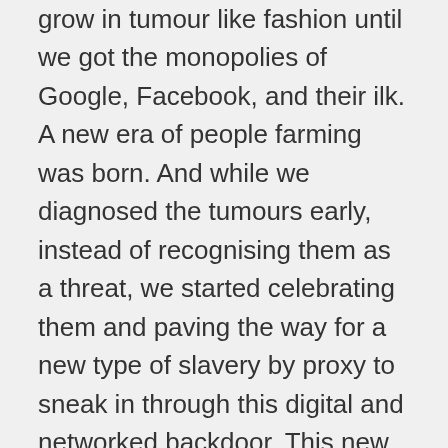grow in tumour like fashion until we got the monopolies of Google, Facebook, and their ilk. A new era of people farming was born. And while we diagnosed the tumours early, instead of recognising them as a threat, we started celebrating them and paving the way for a new type of slavery by proxy to sneak in through this digital and networked backdoor. This new slavery, let’s call it Slavery 2.0, is not as crude as Slavery 1.0. In Slavery 2.0, we no longer need physical possession of your body. We can own you by proxy by obtaining and owning a digital copy of you.